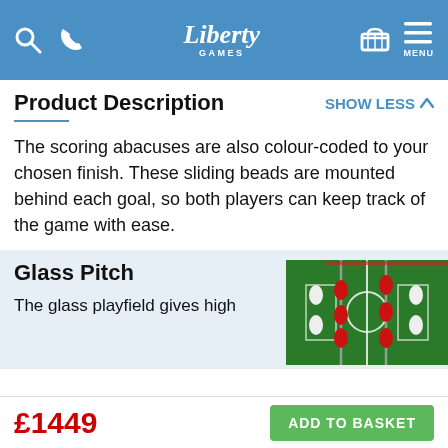Liberty Games
Product Description
The scoring abacuses are also colour-coded to your chosen finish. These sliding beads are mounted behind each goal, so both players can keep track of the game with ease.
Glass Pitch
[Figure (photo): Foosball table glass pitch with red and white player figures on a green field]
The glass playfield gives high
£1449  ADD TO BASKET